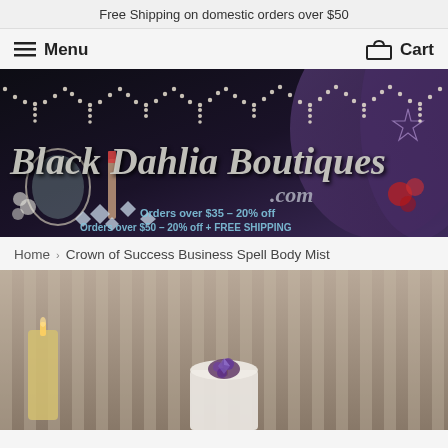Free Shipping on domestic orders over $50
Menu
Cart
[Figure (photo): Black Dahlia Boutiques .com banner — dark background with purple drape, pearl garland decorations, cosmetics, diamonds, text: 'Black Dahlia Boutiques .com', 'Orders over $35 – 20% off', 'Orders over $50 – 20% off + FREE SHIPPING']
Home › Crown of Success Business Spell Body Mist
[Figure (photo): Product photo showing a white candle with a purple flower/crystal decoration, on a striped silver-grey fabric background, with a yellow candle visible on the left]